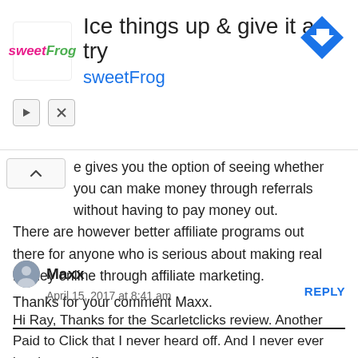[Figure (other): sweetFrog advertisement banner with logo, headline 'Ice things up & give it a try', brand name 'sweetFrog', navigation arrow icon, and collapse/close controls]
e gives you the option of seeing whether you can make money through referrals without having to pay money out. There are however better affiliate programs out there for anyone who is serious about making real money online through affiliate marketing.
Thanks for your comment Maxx.
Maxx
April 15, 2017 at 8:41 am
Hi Ray, Thanks for the Scarletclicks review. Another Paid to Click that I never heard off. And I never ever involve myself